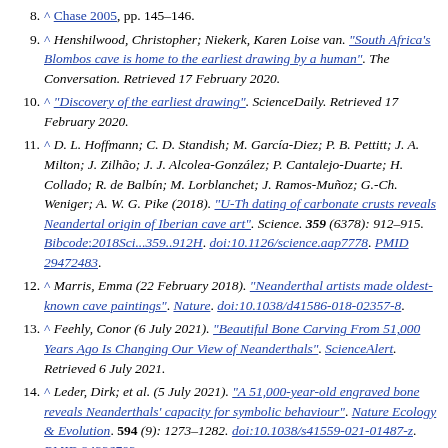8. ^ Chase 2005, pp. 145–146.
9. ^ Henshilwood, Christopher; Niekerk, Karen Loise van. "South Africa's Blombos cave is home to the earliest drawing by a human". The Conversation. Retrieved 17 February 2020.
10. ^ "Discovery of the earliest drawing". ScienceDaily. Retrieved 17 February 2020.
11. ^ D. L. Hoffmann; C. D. Standish; M. García-Diez; P. B. Pettitt; J. A. Milton; J. Zilhão; J. J. Alcolea-González; P. Cantalejo-Duarte; H. Collado; R. de Balbín; M. Lorblanchet; J. Ramos-Muñoz; G.-Ch. Weniger; A. W. G. Pike (2018). "U-Th dating of carbonate crusts reveals Neandertal origin of Iberian cave art". Science. 359 (6378): 912–915. Bibcode:2018Sci...359..912H. doi:10.1126/science.aap7778. PMID 29472483.
12. ^ Marris, Emma (22 February 2018). "Neanderthal artists made oldest-known cave paintings". Nature. doi:10.1038/d41586-018-02357-8.
13. ^ Feehly, Conor (6 July 2021). "Beautiful Bone Carving From 51,000 Years Ago Is Changing Our View of Neanderthals". ScienceAlert. Retrieved 6 July 2021.
14. ^ Leder, Dirk; et al. (5 July 2021). "A 51,000-year-old engraved bone reveals Neanderthals' capacity for symbolic behaviour". Nature Ecology & Evolution. 594 (9): 1273–1282. doi:10.1038/s41559-021-01487-z. PMID 34226702.